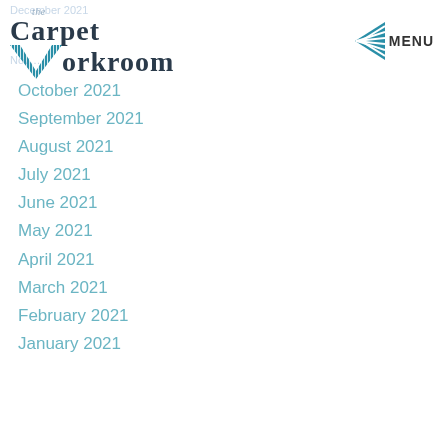the Carpet Workroom
October 2021
September 2021
August 2021
July 2021
June 2021
May 2021
April 2021
March 2021
February 2021
January 2021